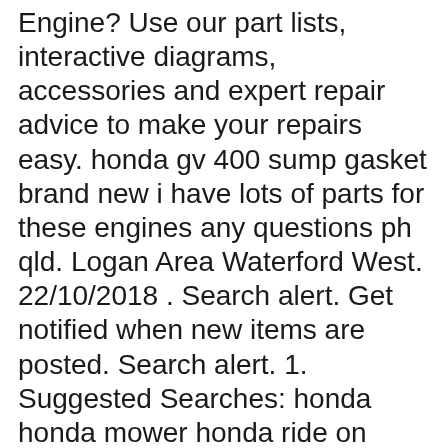Engine? Use our part lists, interactive diagrams, accessories and expert repair advice to make your repairs easy. honda gv 400 sump gasket brand new i have lots of parts for these engines any questions ph qld. Logan Area Waterford West. 22/10/2018 . Search alert. Get notified when new items are posted. Search alert. 1. Suggested Searches: honda honda mower honda ride on mower honda ride on mowers greenfield honda mowers mower ride mower ride on mower ride on mowers cox mower rideon cox ride on mower cox
View and Download Honda GV400 owner's manual online. Vertical Engine. GV400 Engine pdf manual download.